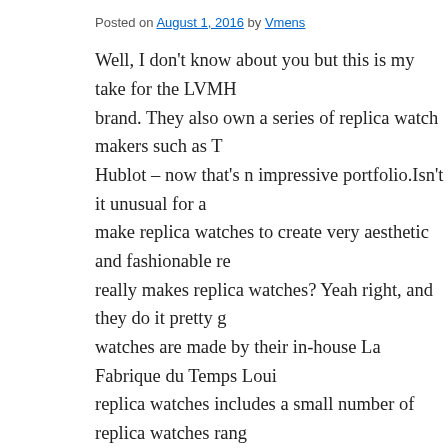Posted on August 1, 2016 by Vmens
Well, I don't know about you but this is my take for the LVMH brand. They also own a series of replica watch makers such as T Hublot – now that's n impressive portfolio.Isn't it unusual for a make replica watches to create very aesthetic and fashionable re really makes replica watches? Yeah right, and they do it pretty g watches are made by their in-house La Fabrique du Temps Loui replica watches includes a small number of replica watches rang quartz movements for women to very exotic tourbillon-based tir let's take a look at the new Louis Vuitton Voyager GMT replica
[Figure (photo): Broken image placeholder for Louis-Vuitton-Voyager-GMT-watch-3-768x1253]
At first look, I do feel that it's a bit odd but hey, this is an LV re case that LV made popular, this new Voyager case benefits from eyes. The new Louis Vuitton Voyager GMT sports a new case d The Louis Vuitton Voyager GMT case is 41.5mm wide being wa versions available for this replica watch on its launch are Louis